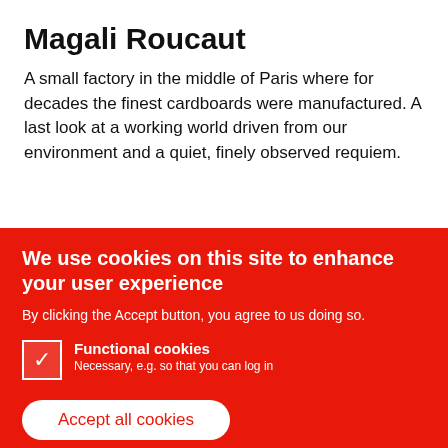Magali Roucaut
A small factory in the middle of Paris where for decades the finest cardboards were manufactured. A last look at a working world driven from our environment and a quiet, finely observed requiem.
We use cookies on this site to enhance your user experience
By clicking the Accept button, you agree to us doing so.
Functional cookies
Necessary, e.g. so that you can log in
Statistics with Matomo*
*Open-Source and the data are with us
Save preferences
Accept all cookies